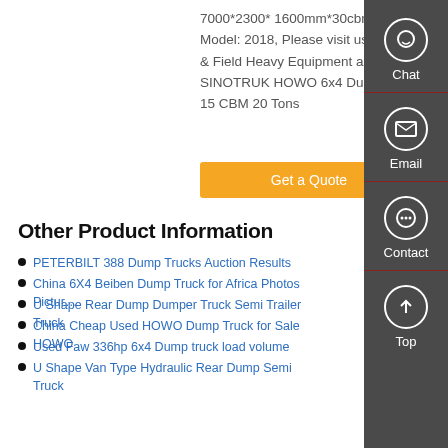7000*2300* 1600mm*30cbm, Model: 2018, Please visit us at Truck & Field Heavy Equipment and. New. SINOTRUK HOWO 6x4 Dump Truck 15 CBM 20 Tons
Get a Quote
Other Product Information
PETERBILT 388 Dump Trucks Auction Results
China 6X4 Beiben Dump Truck for Africa Photos Pictur…
U Shape Rear Dump Dumper Truck Semi Trailer Truck
China Cheap Used HOWO Dump Truck for Sale HOWO
Used Faw 336hp 6x4 Dump truck load volume
U Shape Van Type Hydraulic Rear Dump Semi Truck